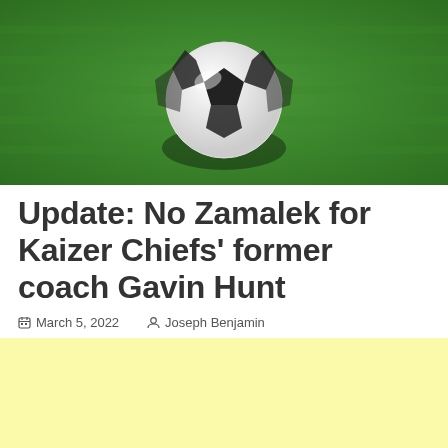[Figure (photo): A soccer/football ball on green grass with shadow underneath, viewed from slightly above.]
Update: No Zamalek for Kaizer Chiefs' former coach Gavin Hunt
📅 March 5, 2022  👤 Joseph Benjamin
[Figure (other): Yellow/cream colored advertisement banner area.]